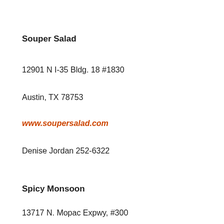Souper Salad
12901 N I-35 Bldg. 18 #1830
Austin, TX 78753
www.soupersalad.com
Denise Jordan 252-6322
Spicy Monsoon
13717 N. Mopac Expwy, #300